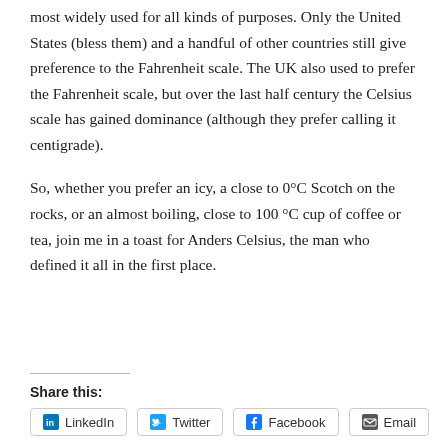most widely used for all kinds of purposes. Only the United States (bless them) and a handful of other countries still give preference to the Fahrenheit scale. The UK also used to prefer the Fahrenheit scale, but over the last half century the Celsius scale has gained dominance (although they prefer calling it centigrade).
So, whether you prefer an icy, a close to 0°C Scotch on the rocks, or an almost boiling, close to 100 °C cup of coffee or tea, join me in a toast for Anders Celsius, the man who defined it all in the first place.
Share this:
LinkedIn  Twitter  Facebook  Email